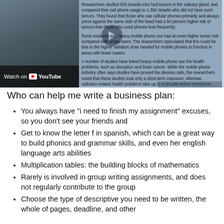[Figure (screenshot): A YouTube video thumbnail/embed showing a blurred webpage about mobile phones and health. The left portion shows a dark blue/grey image with a 'Watch on YouTube' bar at the bottom. The right portion shows highlighted text about a study of Israelis and mobile phone salivary gland tumors, rural residents and radiation, and studies linking mobile phone use to health problems.]
Who can help me write a business plan:
You always have "i need to finish my assignment" excuses, so you don't see your friends and
Get to know the letter f in spanish, which can be a great way to build phonics and grammar skills, and even her english language arts abilities
Multiplication tables: the building blocks of mathematics
Rarely is involved in group writing assignments, and does not regularly contribute to the group
Choose the type of descriptive you need to be written, the whole of pages, deadline, and other